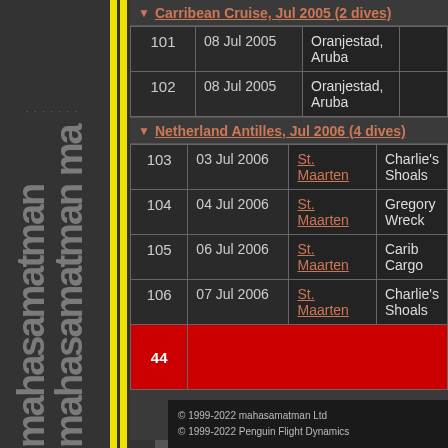Carribean Cruise, Jul 2005 (2 dives)
| # | Date | Location | Site |
| --- | --- | --- | --- |
| 101 | 08 Jul 2005 | Oranjestad, Aruba |  |
| 102 | 08 Jul 2005 | Oranjestad, Aruba |  |
Netherland Antilles, Jul 2006 (4 dives)
| # | Date | Location | Site |
| --- | --- | --- | --- |
| 103 | 03 Jul 2006 | St. Maarten | Charlie's Shoals |
| 104 | 04 Jul 2006 | St. Maarten | Gregory Wreck |
| 105 | 06 Jul 2006 | St. Maarten | Carib Cargo |
| 106 | 07 Jul 2006 | St. Maarten | Charlie's Shoals |
| 44 |  |  |  |
© 1999-2022 mahasamatman Ltd
© 1999-2022 Penguin Flight Dynamics